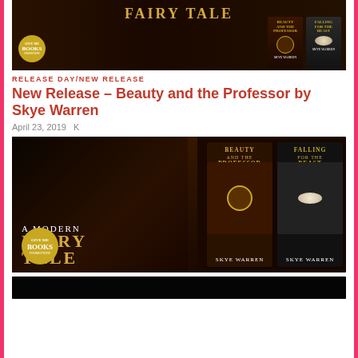[Figure (illustration): Book promotional banner for 'A Modern Fairy Tale' by Skye Warren with Give Me Books logo, showing two book covers for 'Beauty and the Professor' and 'Falling for the Beast' on tablets (top crop)]
RELEASE DAY/NEW RELEASE
New Release – Beauty and the Professor by Skye Warren
April 23, 2019   K
[Figure (illustration): Full promotional banner for 'A Modern Fairy Tale' by Skye Warren with Give Me Books badge, featuring a woman in lingerie on the left and two tablet book covers for 'Beauty and the Professor' and 'Falling for the Beast' by Skye Warren on the right]
[Figure (illustration): Partial black banner at the bottom, content not fully visible]